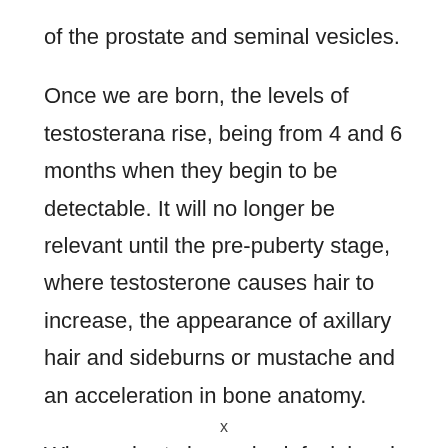of the prostate and seminal vesicles.
Once we are born, the levels of testosterana rise, being from 4 and 6 months when they begin to be detectable. It will no longer be relevant until the pre-puberty stage, where testosterone causes hair to increase, the appearance of axillary hair and sideburns or mustache and an acceleration in bone anatomy.
When puberty is reached, facial and pubic hair
x